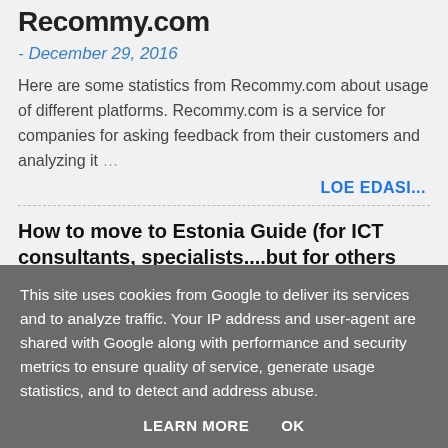Recommy.com
- December 29, 2016
Here are some statistics from Recommy.com about usage of different platforms. Recommy.com is a service for companies for asking feedback from their customers and analyzing it …
LOE EDASI...
How to move to Estonia Guide (for ICT consultants, specialists....but for others also)
This site uses cookies from Google to deliver its services and to analyze traffic. Your IP address and user-agent are shared with Google along with performance and security metrics to ensure quality of service, generate usage statistics, and to detect and address abuse.
LEARN MORE   OK